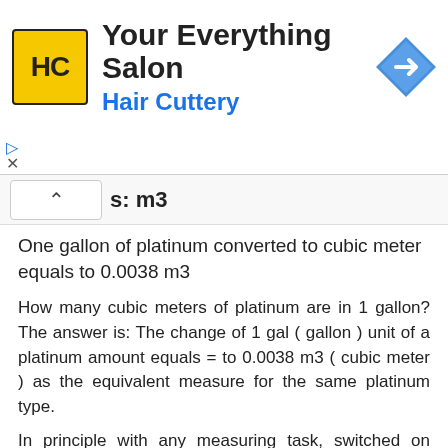[Figure (logo): Hair Cuttery advertisement banner with HC logo, 'Your Everything Salon' heading, 'Hair Cuttery' subtitle in blue, and a blue diamond-shaped arrow icon on the right]
s: m3
One gallon of platinum converted to cubic meter equals to 0.0038 m3
How many cubic meters of platinum are in 1 gallon? The answer is: The change of 1 gal ( gallon ) unit of a platinum amount equals = to 0.0038 m3 ( cubic meter ) as the equivalent measure for the same platinum type.
In principle with any measuring task, switched on professional people always ensure, and their success depends on, they get the most precise conversion results everywhere and every-time. Not only whenever possible, it's always so. Often having only a good idea ( or more ideas ) might not be perfect nor good enough solutions. Subjects of high economic value such as stocks, foreign